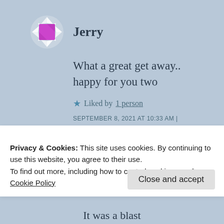[Figure (illustration): Diamond-shaped avatar with magenta/purple center and white triangular facets on outer ring, on light blue background]
Jerry
What a great get away.. happy for you two
★ Liked by 1 person
SEPTEMBER 8, 2021 AT 10:33 AM |
REPLY
Privacy & Cookies: This site uses cookies. By continuing to use this website, you agree to their use.
To find out more, including how to control cookies, see here: Cookie Policy
Close and accept
It was a blast